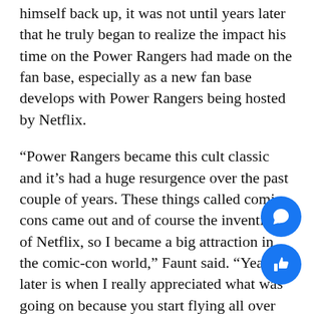himself back up, it was not until years later that he truly began to realize the impact his time on the Power Rangers had made on the fan base, especially as a new fan base develops with Power Rangers being hosted by Netflix.
“Power Rangers became this cult classic and it’s had a huge resurgence over the past couple of years. These things called comic-cons came out and of course the invention of Netflix, so I became a big attraction in the comic-con world,” Faunt said. “Years later is when I really appreciated what was going on because you start flying all over the world meeting these fans and you meet these kids and they’re crying because you were part of their life when they went through bullying or divorce or death in the family, you were their hero.”
For Ian Streeb, a Greensboro resident and member of